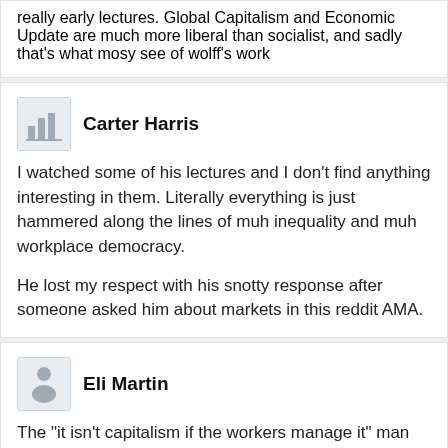really early lectures. Global Capitalism and Economic Update are much more liberal than socialist, and sadly that's what mosy see of wolff's work
Carter Harris
I watched some of his lectures and I don't find anything interesting in them. Literally everything is just hammered along the lines of muh inequality and muh workplace democracy.

He lost my respect with his snotty response after someone asked him about markets in this reddit AMA.
Eli Martin
The "it isn't capitalism if the workers manage it" man
Connor Wilson